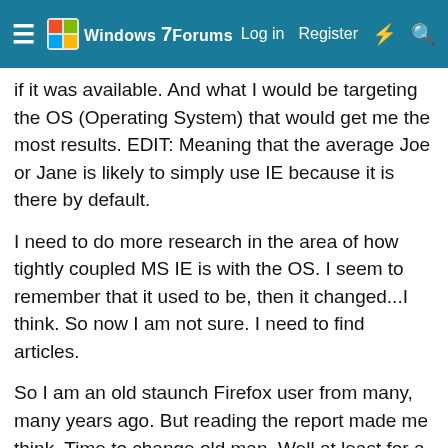Windows 7 Forums — Log in  Register
...if it was available. And what I would be targeting the OS (Operating System) that would get me the most results. EDIT: Meaning that the average Joe or Jane is likely to simply use IE because it is there by default.
I need to do more research in the area of how tightly coupled MS IE is with the OS. I seem to remember that it used to be, then it changed...I think. So now I am not sure. I need to find articles.
So I am an old staunch Firefox user from many, many years ago. But reading the report made me think. Time to change old man. Well at least for a bit of time anyway.
I have found some substitutes for Tree Style Tabs and no-script amongst other things.
To be honest, I'll be maintaining 3 browsers now, Chrome, IE and Firefox. Yea I know it's a lot, but that is my choice.
Anyway, my little bit of research is NOT exhaustive, it is just